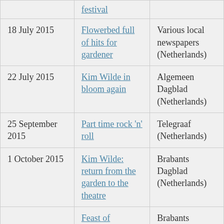| Date | Article | Publication |
| --- | --- | --- |
|  | festival |  |
| 18 July 2015 | Flowerbed full of hits for gardener | Various local newspapers (Netherlands) |
| 22 July 2015 | Kim Wilde in bloom again | Algemeen Dagblad (Netherlands) |
| 25 September 2015 | Part time rock 'n' roll | Telegraaf (Netherlands) |
| 1 October 2015 | Kim Wilde: return from the garden to the theatre | Brabants Dagblad (Netherlands) |
|  | Feast of | Brabants Dagblad |